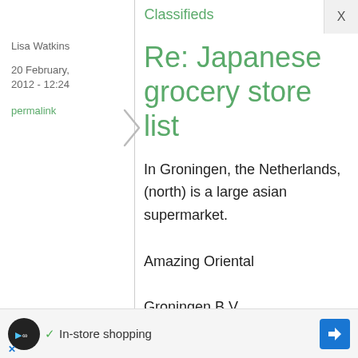Classifieds
Lisa Watkins
20 February, 2012 - 12:24
permalink
Re: Japanese grocery store list
In Groningen, the Netherlands, (north) is a large asian supermarket.
Amazing Oriental
Groningen B.V
✓ In-store shopping